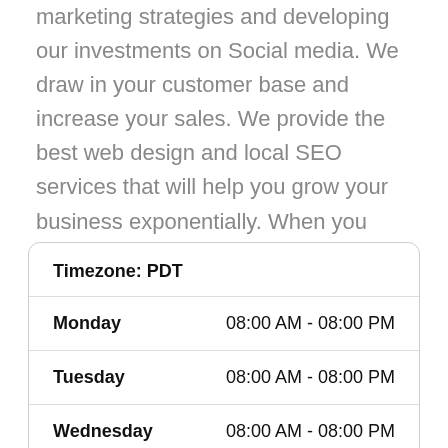marketing strategies and developing our investments on Social media. We draw in your customer base and increase your sales. We provide the best web design and local SEO services that will help you grow your business exponentially. When you work with 5 Dog Digital Marketing Agency, you're making a solid investment in yourself.
| Day | Hours |
| --- | --- |
| Timezone: PDT |  |
| Monday | 08:00 AM - 08:00 PM |
| Tuesday | 08:00 AM - 08:00 PM |
| Wednesday | 08:00 AM - 08:00 PM |
| Thursday | 08:00 AM - 08:00 PM |
| Friday | 08:00 AM - 08:00 PM |